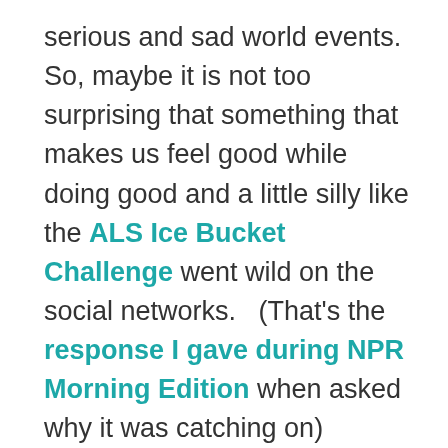serious and sad world events.  So, maybe it is not too surprising that something that makes us feel good while doing good and a little silly like the ALS Ice Bucket Challenge went wild on the social networks.   (That's the response I gave during NPR Morning Edition when asked why it was catching on)
The challenge involves dumping a bucket of ice water on one's head or donating to the ALS Association, with a social media component.   Participants do a video of themselves dumping the water on their